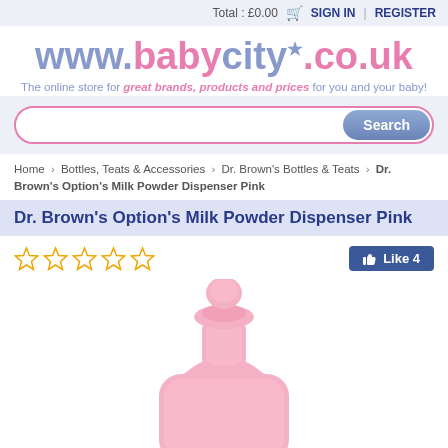Total : £0.00  SIGN IN  |  REGISTER
[Figure (logo): www.babycity.co.uk logo with tagline: The online store for great brands, products and prices for you and your baby!]
[Figure (screenshot): Search bar with pink border and blue Search button]
Home › Bottles, Teats & Accessories › Dr. Brown's Bottles & Teats › Dr. Brown's Option's Milk Powder Dispenser Pink
Dr. Brown's Option's Milk Powder Dispenser Pink
[Figure (other): Five empty star rating icons]
[Figure (other): Facebook Like button showing count of 4]
[Figure (photo): Pink Dr. Brown's milk powder dispenser product image]